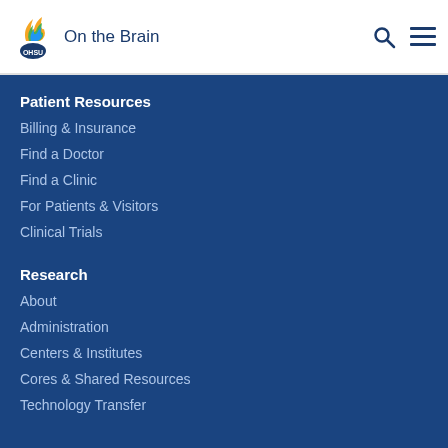On the Brain
Patient Resources
Billing & Insurance
Find a Doctor
Find a Clinic
For Patients & Visitors
Clinical Trials
Research
About
Administration
Centers & Institutes
Cores & Shared Resources
Technology Transfer